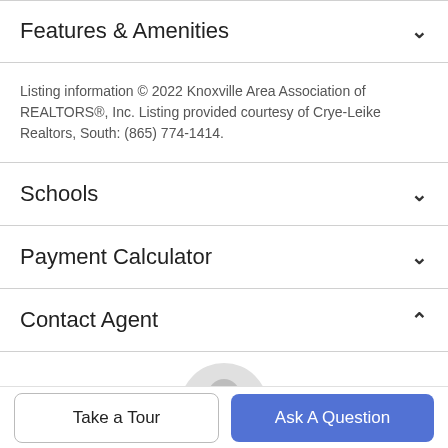Features & Amenities
Listing information © 2022 Knoxville Area Association of REALTORS®, Inc. Listing provided courtesy of Crye-Leike Realtors, South: (865) 774-1414.
Schools
Payment Calculator
Contact Agent
[Figure (illustration): Generic user avatar icon in light gray]
Take a Tour
Ask A Question